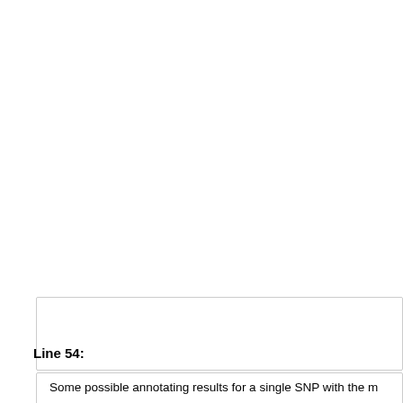Here is an example of input gene file headlines:
Line 54:
Some possible annotating results for a single SNP with the m